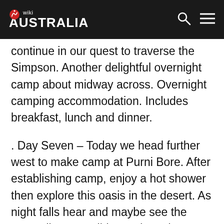wiki AUSTRALIA
continue in our quest to traverse the Simpson. Another delightful overnight camp about midway across. Overnight camping accommodation. Includes breakfast, lunch and dinner.
. Day Seven – Today we head further west to make camp at Purni Bore. After establishing camp, enjoy a hot shower then explore this oasis in the desert. As night falls hear and maybe see the many dingoes, wild camels and donkeys in the area. Overnight camping accommodation. Includes breakfast, lunch